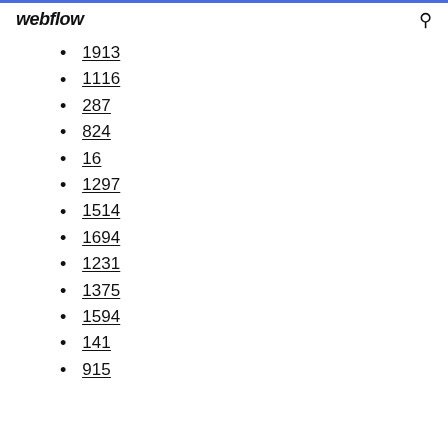webflow
1913
1116
287
824
16
1297
1514
1694
1231
1375
1594
141
915